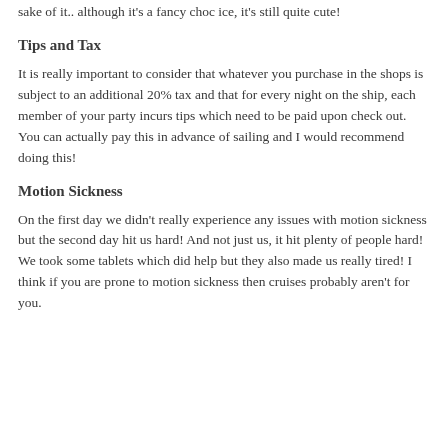sake of it.. although it's a fancy choc ice, it's still quite cute!
Tips and Tax
It is really important to consider that whatever you purchase in the shops is subject to an additional 20% tax and that for every night on the ship, each member of your party incurs tips which need to be paid upon check out. You can actually pay this in advance of sailing and I would recommend doing this!
Motion Sickness
On the first day we didn't really experience any issues with motion sickness but the second day hit us hard! And not just us, it hit plenty of people hard! We took some tablets which did help but they also made us really tired! I think if you are prone to motion sickness then cruises probably aren't for you.